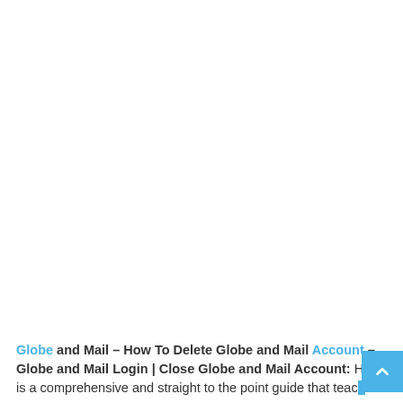Globe and Mail – How To Delete Globe and Mail Account – Globe and Mail Login | Close Globe and Mail Account: Here is a comprehensive and straight to the point guide that teach
a comprehensive and straight to the point guide that teach